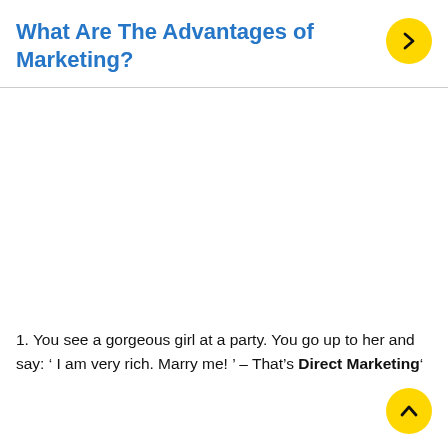What Are The Advantages of Marketing?
1. You see a gorgeous girl at a party. You go up to her and say: ‘ I am very rich. Marry me! ’ – That’s Direct Marketing’